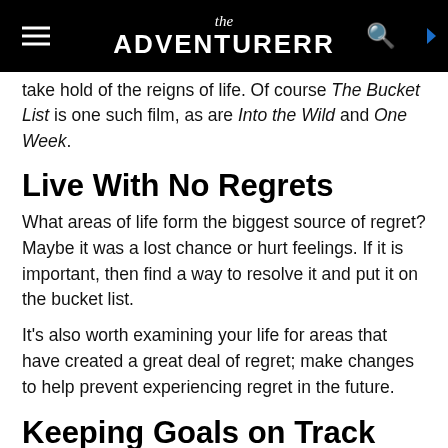the ADVENTURERR
take hold of the reigns of life. Of course The Bucket List is one such film, as are Into the Wild and One Week.
Live With No Regrets
What areas of life form the biggest source of regret? Maybe it was a lost chance or hurt feelings. If it is important, then find a way to resolve it and put it on the bucket list.
It's also worth examining your life for areas that have created a great deal of regret; make changes to help prevent experiencing regret in the future.
Keeping Goals on Track
It is one thing to write a bucket list, it is entirely another to have a completed bucket list. The items won't magically